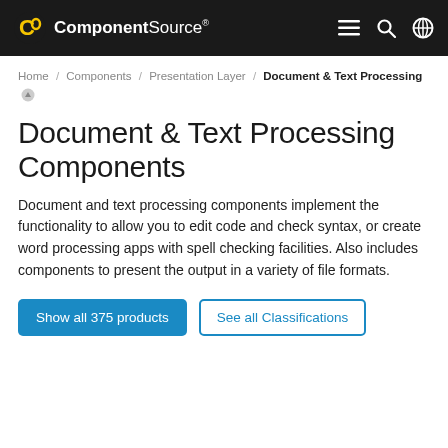ComponentSource
Home / Components / Presentation Layer / Document & Text Processing
Document & Text Processing Components
Document and text processing components implement the functionality to allow you to edit code and check syntax, or create word processing apps with spell checking facilities. Also includes components to present the output in a variety of file formats.
Show all 375 products   See all Classifications